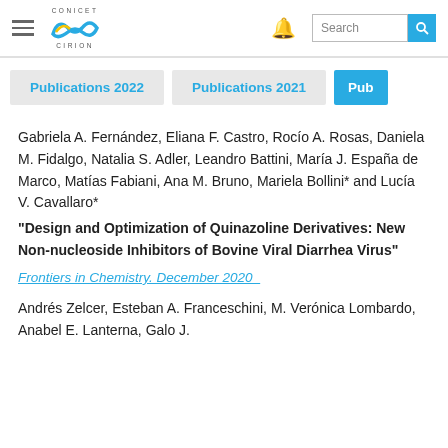CONICET CIRION — Navigation bar with hamburger menu, logo, search
Publications 2022 | Publications 2021 | Pub
Gabriela A. Fernández, Eliana F. Castro, Rocío A. Rosas, Daniela M. Fidalgo, Natalia S. Adler, Leandro Battini, María J. España de Marco, Matías Fabiani, Ana M. Bruno, Mariela Bollini* and Lucía V. Cavallaro*
"Design and Optimization of Quinazoline Derivatives: New Non-nucleoside Inhibitors of Bovine Viral Diarrhea Virus"
Frontiers in Chemistry. December 2020
Andrés Zelcer, Esteban A. Franceschini, M. Verónica Lombardo, Anabel E. Lanterna, Galo J.